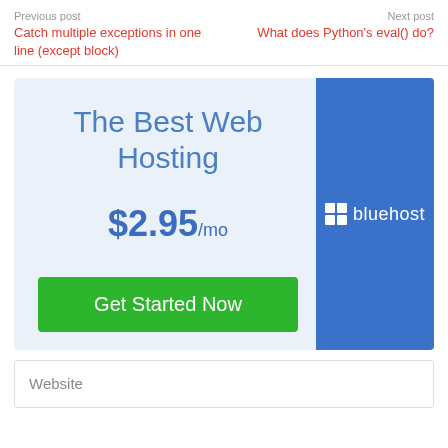Previous post
Catch multiple exceptions in one line (except block)
Next post
What does Python's eval() do?
[Figure (infographic): Bluehost advertisement banner: 'The Best Web Hosting $2.95/mo Get Started Now' with Bluehost logo on blue right panel]
Website